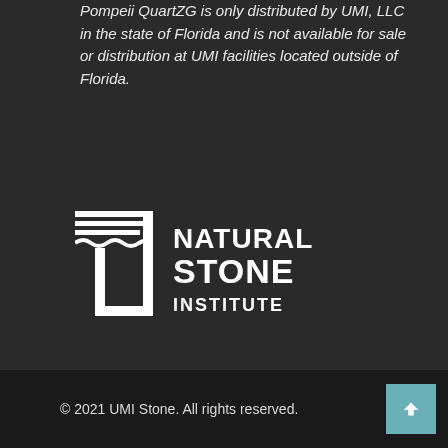Pompeii QuartZG is only distributed by UMI, LLC in the state of Florida and is not available for sale or distribution at UMI facilities located outside of Florida.
[Figure (logo): Natural Stone Institute logo — white graphic mark with horizontal lines and a stylized stone slab shape, beside bold white sans-serif text reading 'NATURAL STONE INSTITUTE']
© 2021 UMI Stone. All rights reserved.